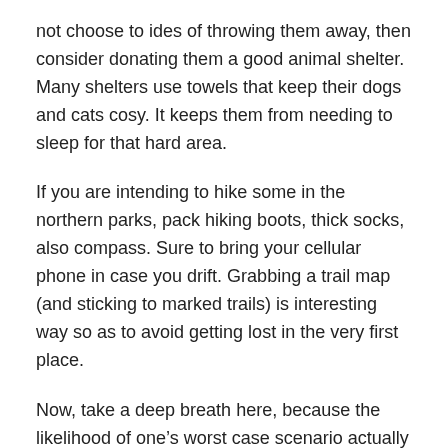not choose to ides of throwing them away, then consider donating them a good animal shelter. Many shelters use towels that keep their dogs and cats cosy. It keeps them from needing to sleep for that hard area.
If you are intending to hike some in the northern parks, pack hiking boots, thick socks, also compass. Sure to bring your cellular phone in case you drift. Grabbing a trail map (and sticking to marked trails) is interesting way so as to avoid getting lost in the very first place.
Now, take a deep breath here, because the likelihood of one's worst case scenario actually happening is low. It super hot and awfully crowded. Kelly gets sunburned; Lulu gets over heated. They both get in fights with strange dogs and wreck a few people's picnics along approach. They both hate the water, roll in dead fish, and young kids and husband or wife are no help any kind of. When you these people in the car, they get sand